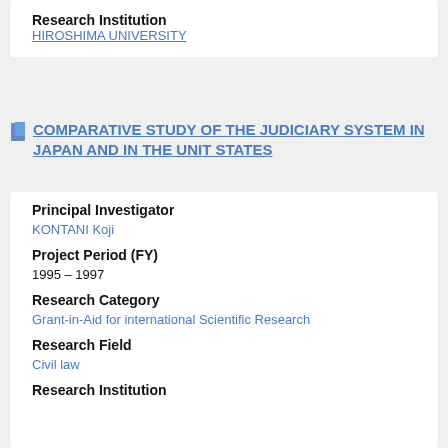Research Institution
HIROSHIMA UNIVERSITY
COMPARATIVE STUDY OF THE JUDICIARY SYSTEM IN JAPAN AND IN THE UNIT STATES
Principal Investigator
KONTANI Koji
Project Period (FY)
1995 – 1997
Research Category
Grant-in-Aid for international Scientific Research
Research Field
Civil law
Research Institution